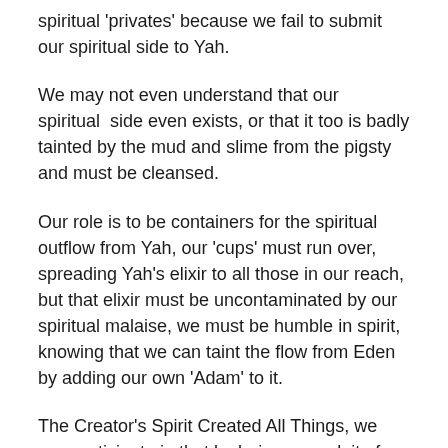spiritual 'privates' because we fail to submit our spiritual side to Yah.
We may not even understand that our spiritual side even exists, or that it too is badly tainted by the mud and slime from the pigsty and must be cleansed.
Our role is to be containers for the spiritual outflow from Yah, our 'cups' must run over, spreading Yah's elixir to all those in our reach, but that elixir must be uncontaminated by our spiritual malaise, we must be humble in spirit, knowing that we can taint the flow from Eden by adding our own 'Adam' to it.
The Creator's Spirit Created All Things, we can participate in that by being a conduit of Yah's Spirit, but only if we understand that if it is tainted by our own spiritual knowledge of good and bad, it will cease to be effective